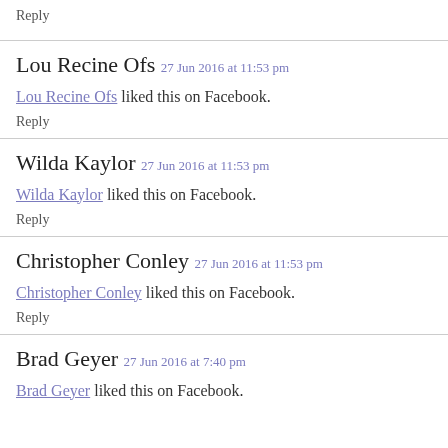Reply
Lou Recine Ofs  27 Jun 2016 at 11:53 pm
Lou Recine Ofs liked this on Facebook.
Reply
Wilda Kaylor  27 Jun 2016 at 11:53 pm
Wilda Kaylor liked this on Facebook.
Reply
Christopher Conley  27 Jun 2016 at 11:53 pm
Christopher Conley liked this on Facebook.
Reply
Brad Geyer  27 Jun 2016 at 7:40 pm
Brad Geyer liked this on Facebook.